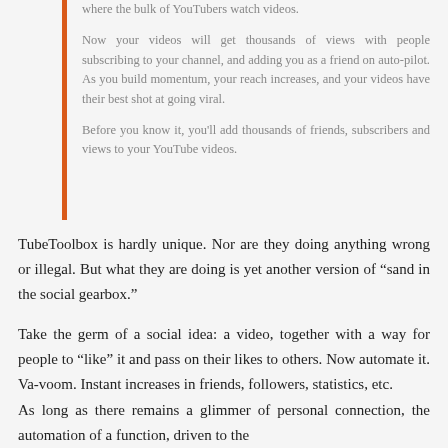where the bulk of YouTubers watch videos.

Now your videos will get thousands of views with people subscribing to your channel, and adding you as a friend on auto-pilot. As you build momentum, your reach increases, and your videos have their best shot at going viral.

Before you know it, you'll add thousands of friends, subscribers and views to your YouTube videos.
TubeToolbox is hardly unique. Nor are they doing anything wrong or illegal. But what they are doing is yet another version of “sand in the social gearbox.”
Take the germ of a social idea: a video, together with a way for people to “like” it and pass on their likes to others. Now automate it. Va-voom. Instant increases in friends, followers, statistics, etc.
As long as there remains a glimmer of personal connection, the automation of a function, driven to the